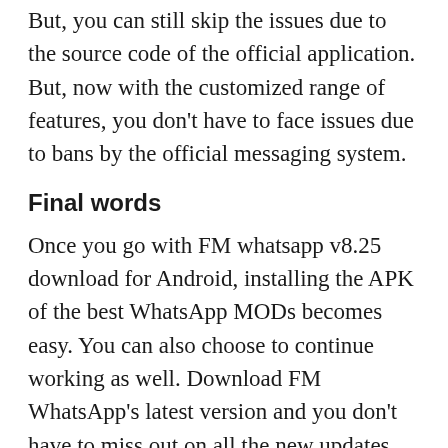But, you can still skip the issues due to the source code of the official application. But, now with the customized range of features, you don’t have to face issues due to bans by the official messaging system.
Final words
Once you go with FM whatsapp v8.25 download for Android, installing the APK of the best WhatsApp MODs becomes easy. You can also choose to continue working as well. Download FM WhatsApp’s latest version and you don’t have to miss out on all the new updates. You can get similar scopes to the official base version of the instant